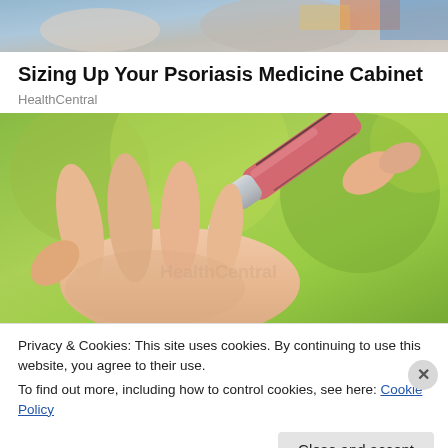[Figure (photo): Top portion of a photo showing what appears to be feet or shoes with colorful clothing]
Sizing Up Your Psoriasis Medicine Cabinet
HealthCentral
[Figure (photo): Close-up photo of a hand receiving cream from a tube, with green blurred background. Someone squeezing a silver and pink cream tube onto an outstretched palm.]
Privacy & Cookies: This site uses cookies. By continuing to use this website, you agree to their use.
To find out more, including how to control cookies, see here: Cookie Policy
Close and accept